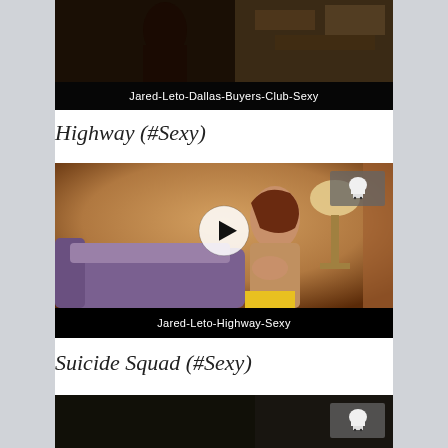[Figure (screenshot): Video thumbnail for Jared-Leto-Dallas-Buyers-Club-Sexy, dark scene with black label bar at bottom]
Jared-Leto-Dallas-Buyers-Club-Sexy
Highway (#Sexy)
[Figure (screenshot): Video player showing Jared-Leto-Highway-Sexy with play button overlay, woman on sofa scene, chef logo icon top right]
Jared-Leto-Highway-Sexy
Suicide Squad (#Sexy)
[Figure (screenshot): Video thumbnail for Suicide Squad Sexy, dark scene with chef logo icon top right, partially visible]